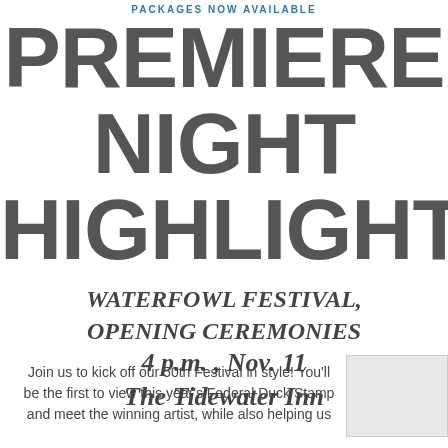PACKAGES NOW AVAILABLE
PREMIERE NIGHT HIGHLIGHTS
WATERFOWL FESTIVAL OPENING CEREMONIES
4 p.m. , Nov. 11
The Tidewater Inn
Join us to kick off our 50th Festival in style! You'll be the first to view this year's Federal Duck Stamp and meet the winning artist, while also helping us